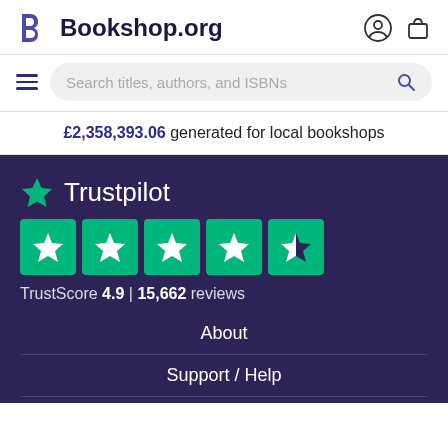[Figure (logo): Bookshop.org logo with stylized B icon and site name]
Search titles, authors, and ISBNs
£2,358,393.06 generated for local bookshops
[Figure (logo): Trustpilot logo with green star and 5 green star rating boxes. TrustScore 4.9 | 15,662 reviews]
About
Support / Help
Become an Affiliate
Gift Cards